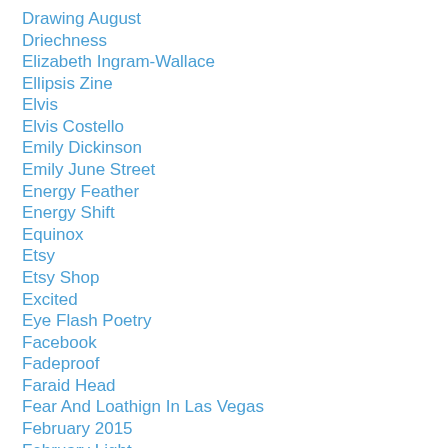Drawing August
Driechness
Elizabeth Ingram-Wallace
Ellipsis Zine
Elvis
Elvis Costello
Emily Dickinson
Emily June Street
Energy Feather
Energy Shift
Equinox
Etsy
Etsy Shop
Excited
Eye Flash Poetry
Facebook
Fadeproof
Faraid Head
Fear And Loathign In Las Vegas
February 2015
February Light